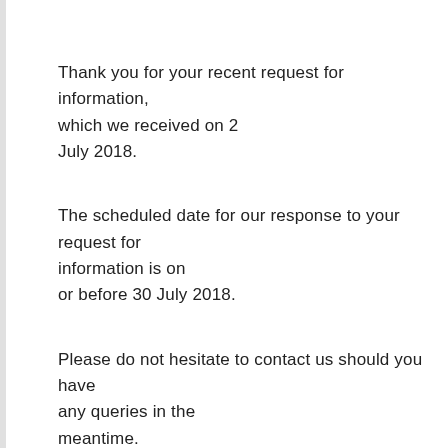Thank you for your recent request for information, which we received on 2 July 2018.
The scheduled date for our response to your request for information is on or before 30 July 2018.
Please do not hesitate to contact us should you have any queries in the meantime.
Yours sincerely